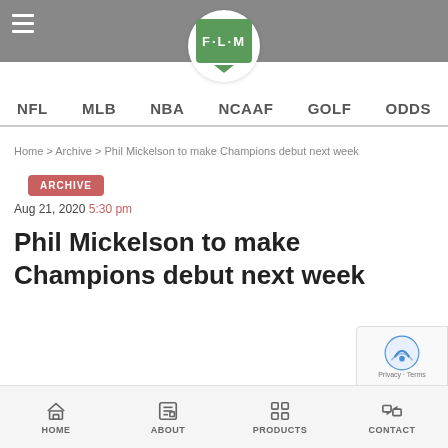FLM logo with navigation: NFL, MLB, NBA, NCAAF, GOLF, ODDS
Home > Archive > Phil Mickelson to make Champions debut next week
ARCHIVE
Aug 21, 2020 5:30 pm
Phil Mickelson to make Champions debut next week
HOME  ABOUT  PRODUCTS  CONTACT